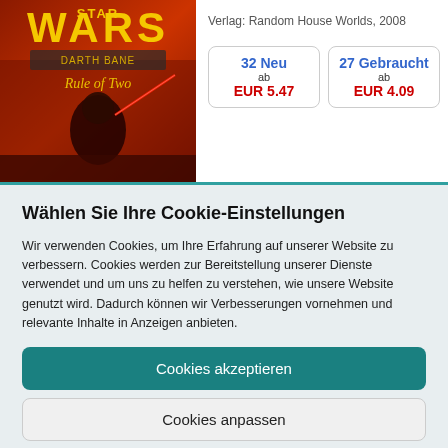[Figure (illustration): Book cover for Star Wars Darth Bane: Rule of Two, showing the title in yellow text on a dark red/orange background with a Sith figure]
Verlag: Random House Worlds, 2008
32 Neu
ab EUR 5.47
27 Gebraucht
ab EUR 4.09
Wählen Sie Ihre Cookie-Einstellungen
Wir verwenden Cookies, um Ihre Erfahrung auf unserer Website zu verbessern. Cookies werden zur Bereitstellung unserer Dienste verwendet und um uns zu helfen zu verstehen, wie unsere Website genutzt wird. Dadurch können wir Verbesserungen vornehmen und relevante Inhalte in Anzeigen anbieten.
Cookies akzeptieren
Cookies anpassen